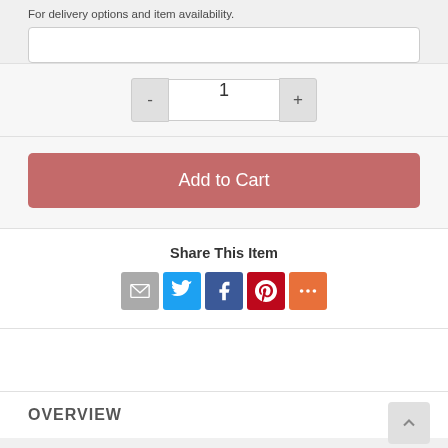For delivery options and item availability.
1
Add to Cart
Share This Item
[Figure (infographic): Social share icons: email (gray), Twitter (blue), Facebook (dark blue), Pinterest (red), More (orange)]
OVERVIEW